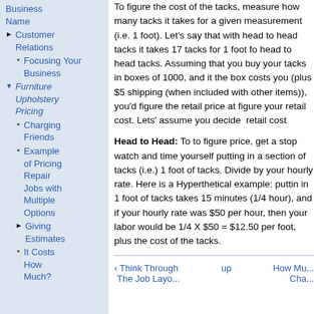Business Name
Customer Relations
Focusing Your Business
Furniture Upholstery Pricing
Charging Friends
Example of Pricing Repair Jobs with Multiple Options
Giving Estimates
It Costs How Much?
To figure the cost of the tacks, measure how many tacks it takes for a given measurement (i.e. 1 foot). Let's say that with head to head tacks it takes 17 tacks for 1 foot fo head to head tacks. Assuming that you buy your tacks in boxes of 1000, and it the box costs you (plus $5 shipping (when included with other items)), you'd figure the retail price at figure your retail cost. Lets' assume you decide retail cost
Head to Head: To to figure price, get a stopwatch and time yourself putting in a section of tacks (i.e.) 1 foot of tacks. Divide by your hourly rate. Here is a Hyperthetical example: puttin in 1 foot of tacks takes 15 minutes (1/4 hour), and if your hourly rate was $50 per hour, then your labor would be 1/4 X $50 = $12.50 per foot, plus the cost of the tacks.
‹ Think Through The Job Layo...   up   How Mu... Cha...